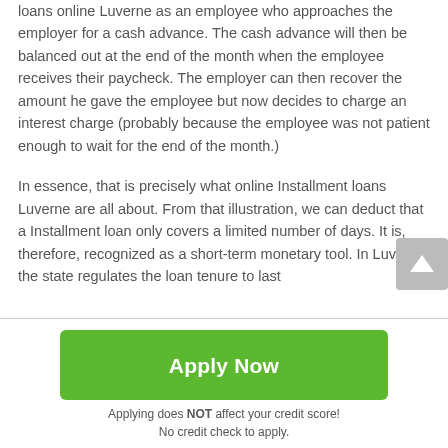loans online Luverne as an employee who approaches the employer for a cash advance. The cash advance will then be balanced out at the end of the month when the employee receives their paycheck. The employer can then recover the amount he gave the employee but now decides to charge an interest charge (probably because the employee was not patient enough to wait for the end of the month.)
In essence, that is precisely what online Installment loans Luverne are all about. From that illustration, we can deduct that a Installment loan only covers a limited number of days. It is, therefore, recognized as a short-term monetary tool. In Luverne, the state regulates the loan tenure to last
Apply Now
Applying does NOT affect your credit score!
No credit check to apply.